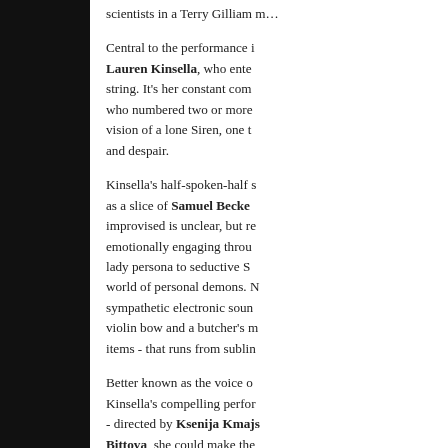scientists in a Terry Gilliam m...
Central to the performance is Lauren Kinsella, who enters string. It's her constant com who numbered two or more vision of a lone Siren, one t and despair.
Kinsella's half-spoken-half s as a slice of Samuel Becke improvised is unclear, but re emotionally engaging throu lady persona to seductive S world of personal demons. N sympathetic electronic soun violin bow and a butcher's m items - that runs from sublin
Better known as the voice o Kinsella's compelling perfor - directed by Ksenija Kmajs Bittova, she could make the some success.
Ian Patterson, The Thin Air
'A Disconnected Rhy
"Meanwhile, A Disconnected